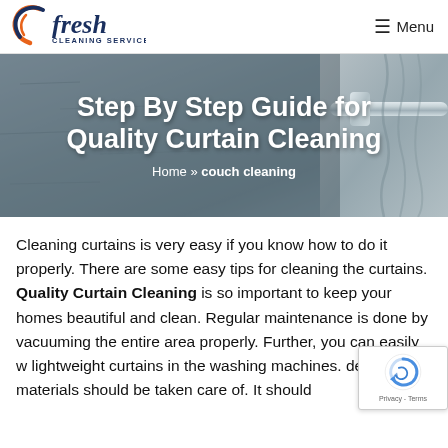[Figure (logo): Fresh Cleaning Services logo with orange/navy swirl icon and 'fresh' text in navy italic]
≡ Menu
[Figure (photo): Hero banner with concrete/stone texture background and metallic curtain rod on the right side]
Step By Step Guide for Quality Curtain Cleaning
Home » couch cleaning
Cleaning curtains is very easy if you know how to do it properly. There are some easy tips for cleaning the curtains. Quality Curtain Cleaning is so important to keep your homes beautiful and clean. Regular maintenance is done by vacuuming the entire area properly. Further, you can easily w lightweight curtains in the washing machines. delicate materials should be taken care of. It should